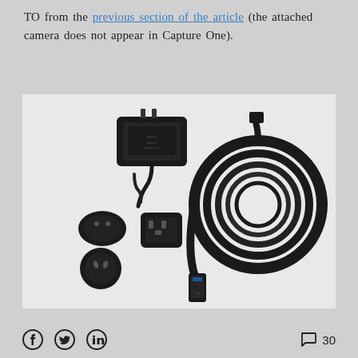TO from the previous section of the article (the attached camera does not appear in Capture One).
[Figure (photo): Product photo on light grey background showing: a black power adapter/charger with cables, three international power plug adapters (EU, UK, and AU types), and a large coiled black USB cable (USB 3.0 active optical extension cable) with connectors visible.]
Facebook icon, Twitter icon, LinkedIn icon | comment bubble icon 30